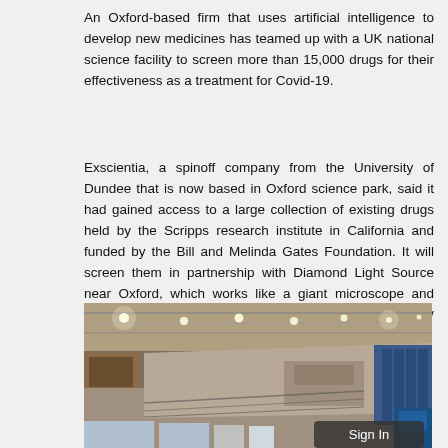An Oxford-based firm that uses artificial intelligence to develop new medicines has teamed up with a UK national science facility to screen more than 15,000 drugs for their effectiveness as a treatment for Covid-19.
Exscientia, a spinoff company from the University of Dundee that is now based in Oxford science park, said it had gained access to a large collection of existing drugs held by the Scripps research institute in California and funded by the Bill and Melinda Gates Foundation. It will screen them in partnership with Diamond Light Source near Oxford, which works like a giant microscope and generates bright light that allows scientists to study viruses.
[Figure (photo): Interior photo of Diamond Light Source synchrotron facility near Oxford, showing a large industrial hall with curved rows of scientific equipment, beamlines, cabling, and bright overhead lighting.]